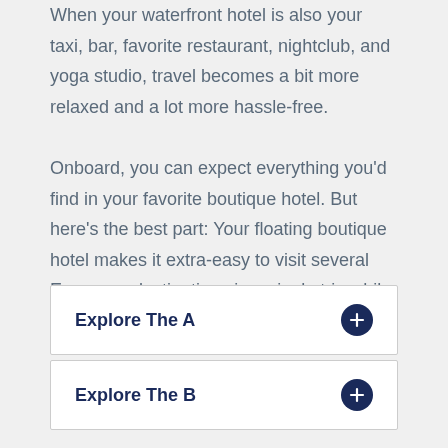When your waterfront hotel is also your taxi, bar, favorite restaurant, nightclub, and yoga studio, travel becomes a bit more relaxed and a lot more hassle-free.

Onboard, you can expect everything you'd find in your favorite boutique hotel. But here's the best part: Your floating boutique hotel makes it extra-easy to visit several European destinations in a single trip while only having to unpack once
Explore The A
Explore The B